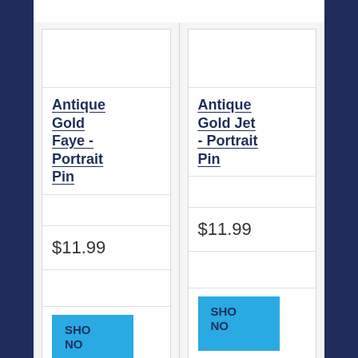Antique Gold Faye - Portrait Pin
$11.99
SHOP NOW
Antique Gold Jet - Portrait Pin
$11.99
SHOP NOW